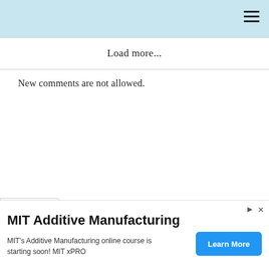Load more...
New comments are not allowed.
[Figure (other): Collapse/expand chevron tab button on left side]
MIT Additive Manufacturing
MIT's Additive Manufacturing online course is starting soon! MIT xPRO